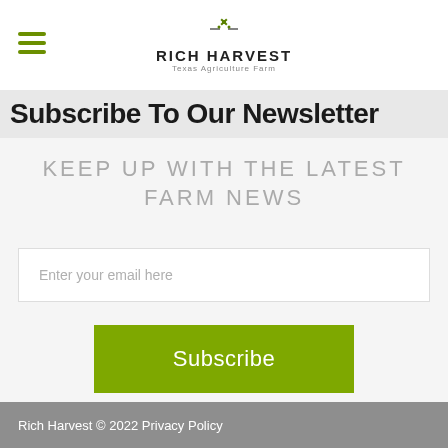RICH HARVEST — Texas Agriculture Farm
Subscribe To Our Newsletter
KEEP UP WITH THE LATEST FARM NEWS
Enter your email here
Subscribe
Rich Harvest © 2022 Privacy Policy